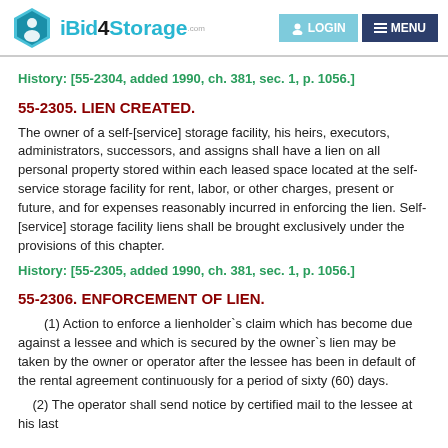iBid4Storage LOGIN MENU
History: [55-2304, added 1990, ch. 381, sec. 1, p. 1056.]
55-2305. LIEN CREATED.
The owner of a self-[service] storage facility, his heirs, executors, administrators, successors, and assigns shall have a lien on all personal property stored within each leased space located at the self-service storage facility for rent, labor, or other charges, present or future, and for expenses reasonably incurred in enforcing the lien. Self-[service] storage facility liens shall be brought exclusively under the provisions of this chapter.
History: [55-2305, added 1990, ch. 381, sec. 1, p. 1056.]
55-2306. ENFORCEMENT OF LIEN.
(1) Action to enforce a lienholder's claim which has become due against a lessee and which is secured by the owner's lien may be taken by the owner or operator after the lessee has been in default of the rental agreement continuously for a period of sixty (60) days.
(2) The operator shall send notice by certified mail to the lessee at his last